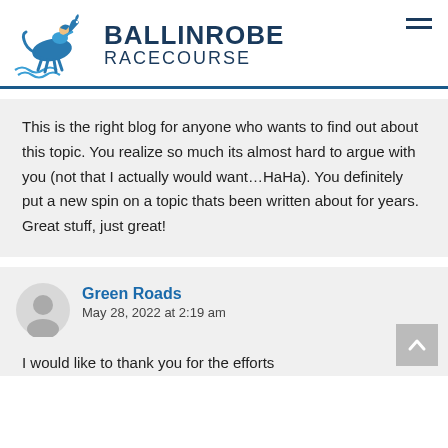[Figure (logo): Ballinrobe Racecourse logo with jockey on horse and wavy water lines, next to bold site title text 'BALLINROBE RACECOURSE' and hamburger menu icon]
This is the right blog for anyone who wants to find out about this topic. You realize so much its almost hard to argue with you (not that I actually would want…HaHa). You definitely put a new spin on a topic thats been written about for years. Great stuff, just great!
Green Roads
May 28, 2022 at 2:19 am
I would like to thank you for the efforts